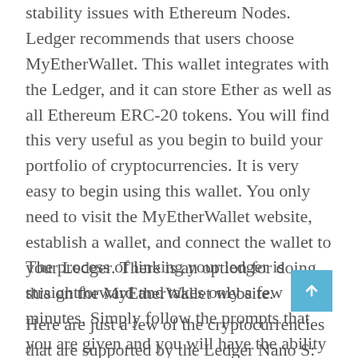stability issues with Ethereum Nodes. Ledger recommends that users choose MyEtherWallet. This wallet integrates with the Ledger, and it can store Ether as well as all Ethereum ERC-20 tokens. You will find this very useful as you begin to build your portfolio of cryptocurrencies. It is very easy to begin using this wallet. You only need to visit the MyEtherWallet website, establish a wallet, and connect the wallet to your Ledger. There is an option for doing this on the MyEtherWallet website.
The process of linking your ledger is straightforward and takes only a few minutes. Simply follow the prompts that you are given and you will have the ability to send or receive many digital tokens.
Here are just a few of the cryptocurrencies that are supported by the Ledger Nano S: